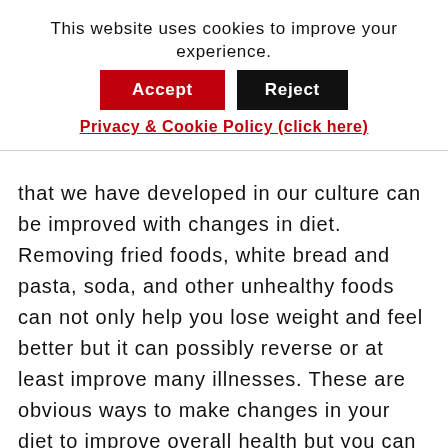This website uses cookies to improve your experience.
Accept  Reject
Privacy & Cookie Policy (click here)
that we have developed in our culture can be improved with changes in diet. Removing fried foods, white bread and pasta, soda, and other unhealthy foods can not only help you lose weight and feel better but it can possibly reverse or at least improve many illnesses. These are obvious ways to make changes in your diet to improve overall health but you can also add things to your food diet that will make a big